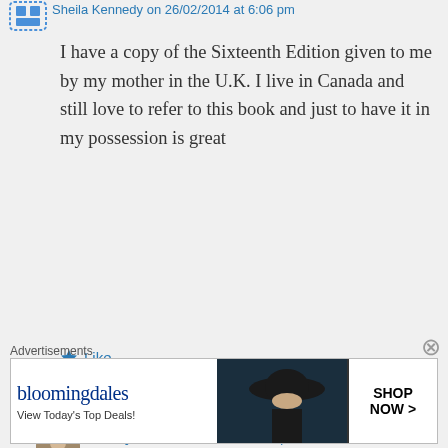I have a copy of the Sixteenth Edition given to me by my mother in the U.K. I live in Canada and still love to refer to this book and just to have it in my possession is great
Like
Reply
buttery77 on 26/02/2014 at 6:17 pm
It's just amazing how popular this post. I had no idea that it was so
Advertisements
[Figure (screenshot): Bloomingdale's advertisement banner with logo, 'View Today's Top Deals!' text, woman with hat image, and 'SHOP NOW >' button]